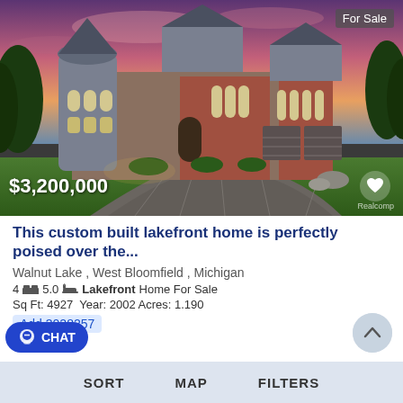[Figure (photo): Exterior photo of a large custom-built Tudor/Gothic style lakefront home at dusk with a purple-pink sky, illuminated windows, brick and stone facade, circular driveway with paver stones, and a manicured lawn. Price overlay reads $3,200,000 and a 'For Sale' badge is in the top right. A heart icon appears in the bottom right of the image and a Realcomp watermark is present.]
This custom built lakefront home is perfectly poised over the...
Walnut Lake , West Bloomfield , Michigan
4 [bed icon] 5.0 [bath icon]  Lakefront  Home For Sale
Sq Ft: 4927  Year: 2002 Acres: 1.190
Add 3028257